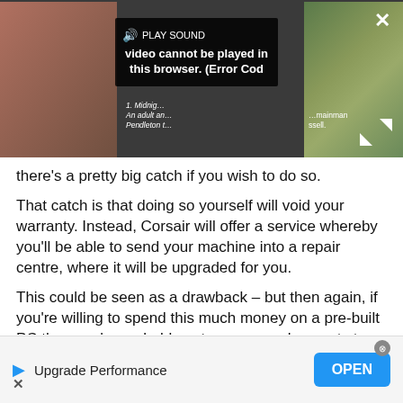[Figure (screenshot): Video player showing an error overlay. The error reads 'Video cannot be played in this browser. (Error Cod' with a PLAY SOUND button. There are thumbnail images on the left and right sides and a close X in the top-right corner.]
there's a pretty big catch if you wish to do so.
That catch is that doing so yourself will void your warranty. Instead, Corsair will offer a service whereby you'll be able to send your machine into a repair centre, where it will be upgraded for you.
This could be seen as a drawback – but then again, if you're willing to spend this much money on a pre-built PC then you're probably not someone who wants to get their hands dirty with upgrades either.
[Figure (screenshot): Advertisement banner at the bottom with a blue play icon, text 'Upgrade Performance', an OPEN button in blue, and an X close button.]